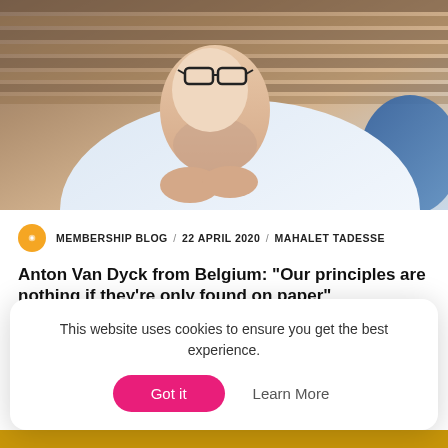[Figure (photo): A young bearded man with glasses, wearing a white shirt, hands clasped, sitting thoughtfully in front of wooden slat background]
MEMBERSHIP BLOG / 22 APRIL 2020 / MAHALET TADESSE
Anton Van Dyck from Belgium: “Our principles are nothing if they’re only found on paper”
Twelve mini-interview in the #GlobalHumanismNow series: Anton Van Dyck from Belgium.
This website uses cookies to ensure you get the best experience.